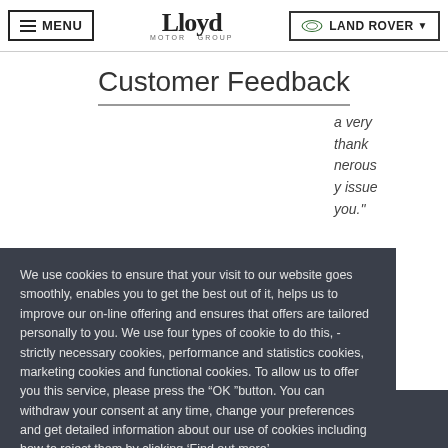MENU | Lloyd Motor Group | LAND ROVER
Customer Feedback
a very thank nerous y issue you.
We use cookies to ensure that your visit to our website goes smoothly, enables you to get the best out of it, helps us to improve our on-line offering and ensures that offers are tailored personally to you. We use four types of cookie to do this, - strictly necessary cookies, performance and statistics cookies, marketing cookies and functional cookies. To allow us to offer you this service, please press the “OK ”button. You can withdraw your consent at any time, change your preferences and get detailed information about our use of cookies including how to reject them by clicking ‘Find out more’.
Find Out More
Ok
[Figure (logo): Lloyd Motor Group footer logo]